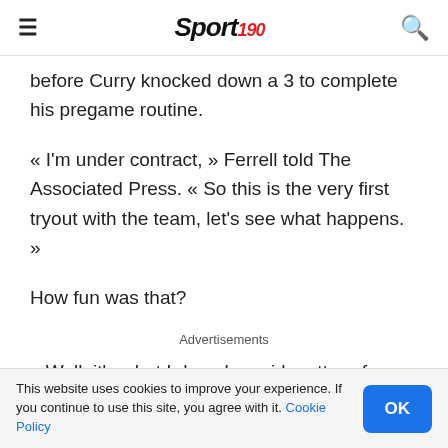Sport 190
before Curry knocked down a 3 to complete his pregame routine.
« I'm under contract, » Ferrell told The Associated Press. « So this is the very first tryout with the team, let's see what happens. »
How fun was that?
Advertisements
« Well, it's what I do, » he said matter-of-factly.
This website uses cookies to improve your experience. If you continue to use this site, you agree with it. Cookie Policy